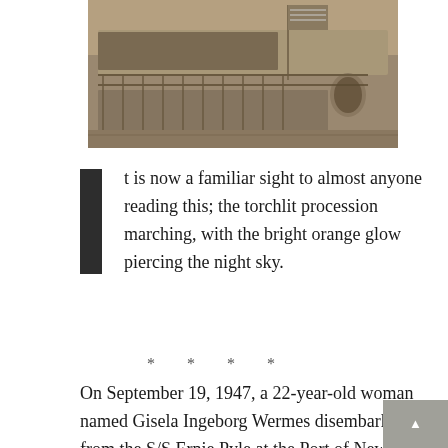[Figure (photo): Black and white / sepia photograph of a crowded ship deck with passengers and an American flag visible, viewed from above.]
t is now a familiar sight to almost anyone reading this; the torchlit procession marching, with the bright orange glow piercing the night sky.
* * * *
On September 19, 1947, a 22-year-old woman named Gisela Ingeborg Wermes disembarked from the S/S Ernie Pyle at the Port of New York, amongst a throng of